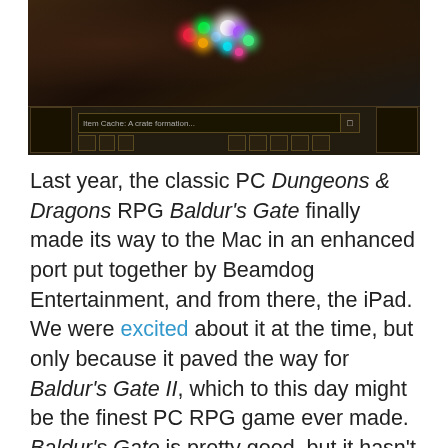[Figure (screenshot): Screenshot of Baldur's Gate PC game showing a dark dungeon scene with colorful glowing spell effects and a game UI bar at the bottom]
Last year, the classic PC Dungeons & Dragons RPG Baldur's Gate finally made its way to the Mac in an enhanced port put together by Beamdog Entertainment, and from there, the iPad. We were excited about it at the time, but only because it paved the way for Baldur's Gate II, which to this day might be the finest PC RPG game ever made. Baldur's Gate is pretty good, but it hasn't aged well. Baldur's Gate II and its expansion, Throne of
[Figure (infographic): Pure Earth advertisement banner: 'We believe the global pollution crisis can be solved.' with tagline 'In a world where pollution doesn't stop at borders, we can all be part of the solution. JOIN US.' and Pure Earth logo]